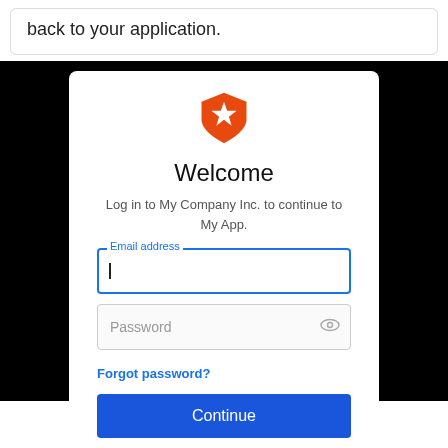back to your application.
[Figure (logo): Orange shield logo with white star in the center]
Welcome
Log in to My Company Inc. to continue to My App.
Email address
Password
Forgot password?
Continue
Don't have an account? Sign up